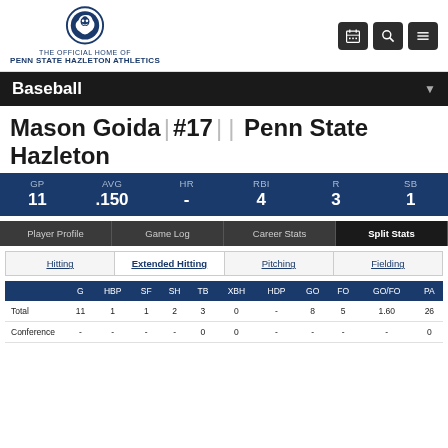THE OFFICIAL HOME OF PENN STATE HAZLETON ATHLETICS
Baseball
Mason Goida | #17 | | Penn State Hazleton
| GP | AVG | HR | RBI | R | SB |
| --- | --- | --- | --- | --- | --- |
| 11 | .150 | - | 4 | 3 | 1 |
Player Profile | Game Log | Career Stats | Split Stats
Hitting | Extended Hitting | Pitching | Fielding
|  | G | HBP | SF | SH | TB | XBH | HDP | GO | FO | GO/FO | PA |
| --- | --- | --- | --- | --- | --- | --- | --- | --- | --- | --- | --- |
| Total | 11 | 1 | 1 | 2 | 3 | 0 | - | 8 | 5 | 1.60 | 26 |
| Conference | - | - | - | - | 0 | 0 | - | - | - | - | 0 |